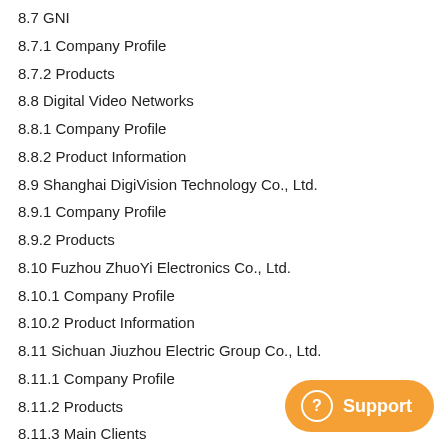8.7 GNI
8.7.1 Company Profile
8.7.2 Products
8.8 Digital Video Networks
8.8.1 Company Profile
8.8.2 Product Information
8.9 Shanghai DigiVision Technology Co., Ltd.
8.9.1 Company Profile
8.9.2 Products
8.10 Fuzhou ZhuoYi Electronics Co., Ltd.
8.10.1 Company Profile
8.10.2 Product Information
8.11 Sichuan Jiuzhou Electric Group Co., Ltd.
8.11.1 Company Profile
8.11.2 Products
8.11.3 Main Clients
8.12 Chengdu DoYen Information Technolog…
8.12.1 Company Profile